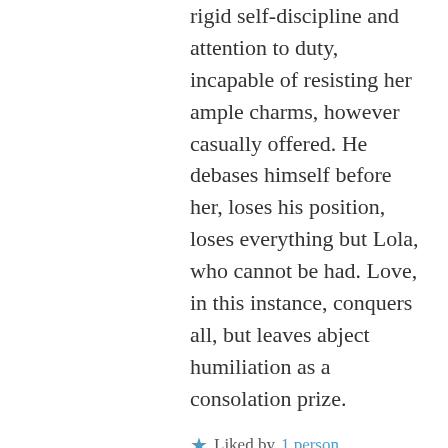rigid self-discipline and attention to duty, incapable of resisting her ample charms, however casually offered. He debases himself before her, loses his position, loses everything but Lola, who cannot be had. Love, in this instance, conquers all, but leaves abject humiliation as a consolation prize.
★ Liked by 1 person
↳ Reply
Dave Astor on September 29, 2016 at 6:49 pm
Thanks, jhNY! I've seen that movie, but didn't know a novel came first. Really good description of the film by you, and of the